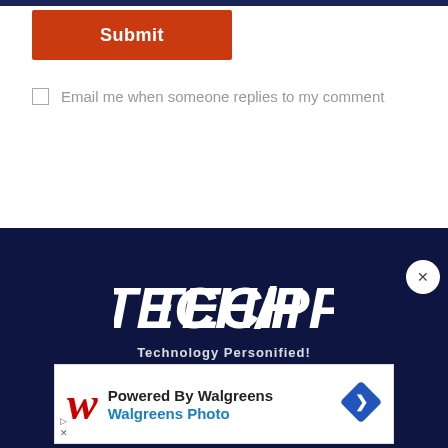[Figure (screenshot): Submit button - orange/red rectangular button with white bold text 'Submit']
Email me when someone replies to my comment
[Figure (screenshot): TechPP website footer with dark navy background showing TECHPP logo in bold white italic font and tagline 'Technology Personified!']
[Figure (screenshot): Advertisement: Powered By Walgreens / Walgreens Photo with Walgreens W logo and diamond direction icon]